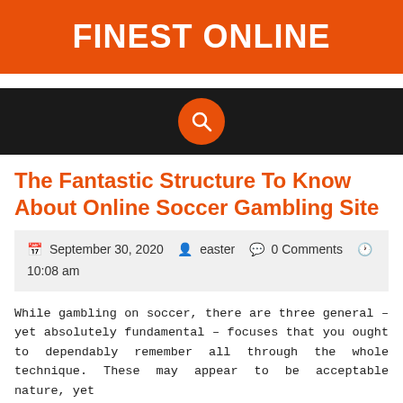FINEST ONLINE
[Figure (other): Dark navigation bar with orange circular search icon button]
The Fantastic Structure To Know About Online Soccer Gambling Site
September 30, 2020  easter  0 Comments  10:08 am
While gambling on soccer, there are three general – yet absolutely fundamental – focuses that you ought to dependably remember all through the whole technique. These may appear to be acceptable nature, yet